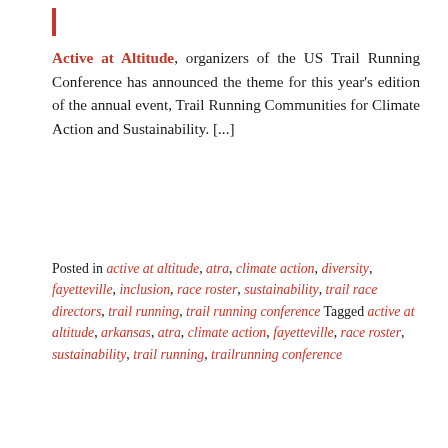Active at Altitude, organizers of the US Trail Running Conference has announced the theme for this year's edition of the annual event, Trail Running Communities for Climate Action and Sustainability. [...]
Posted in active at altitude, atra, climate action, diversity, fayetteville, inclusion, race roster, sustainability, trail race directors, trail running, trail running conference Tagged active at altitude, arkansas, atra, climate action, fayetteville, race roster, sustainability, trail running, trailrunning conference
[Figure (photo): Indoor conference venue photograph showing a presenter on stage in front of a large screen with ATRA banners, and an audience of many people seated in rows facing the stage.]